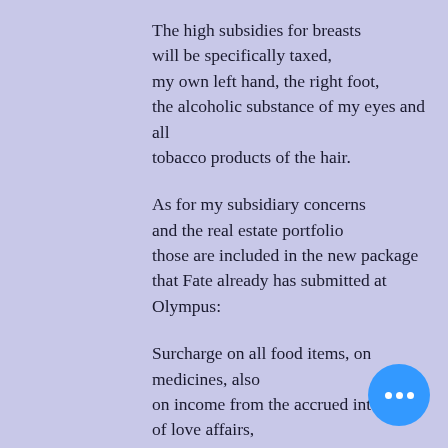The high subsidies for breasts will be specifically taxed, my own left hand, the right foot, the alcoholic substance of my eyes and all tobacco products of the hair.
As for my subsidiary concerns and the real estate portfolio those are included in the new package that Fate already has submitted at Olympus:
Surcharge on all food items, on medicines, also on income from the accrued interest of love affairs, and finally application of the final stroke on further measures, for austerity and for energy savings.